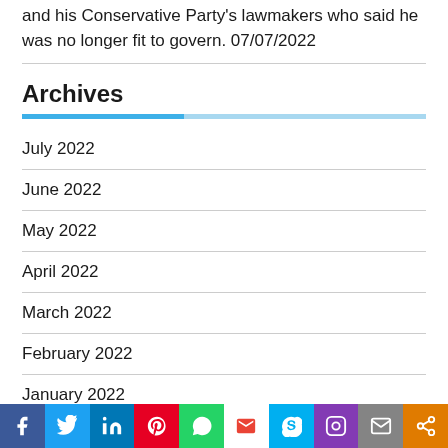and his Conservative Party's lawmakers who said he was no longer fit to govern. 07/07/2022
Archives
July 2022
June 2022
May 2022
April 2022
March 2022
February 2022
January 2022
December 2021
[Figure (infographic): Social sharing bar with icons for Facebook, Twitter, LinkedIn, Pinterest, WhatsApp, Gmail, Skype, Instagram, Email, Share]